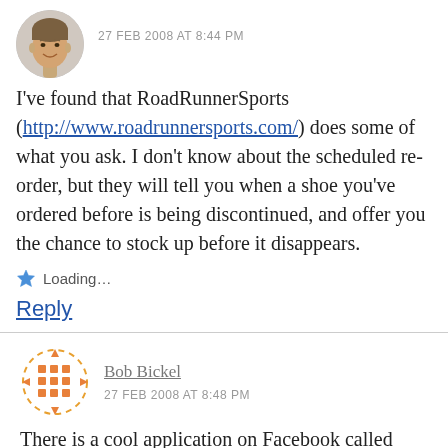27 FEB 2008 AT 8:44 PM
I've found that RoadRunnerSports (http://www.roadrunnersports.com/) does some of what you ask. I don't know about the scheduled re-order, but they will tell you when a shoe you've ordered before is being discontinued, and offer you the chance to stock up before it disappears.
Loading...
Reply
Bob Bickel
27 FEB 2008 AT 8:48 PM
There is a cool application on Facebook called Runlicious. It allows you to log your miles – and